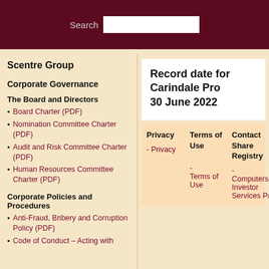Search
Scentre Group
Corporate Governance
The Board and Directors
Board Charter (PDF)
Nomination Committee Charter (PDF)
Audit and Risk Committee Charter (PDF)
Human Resources Committee Charter (PDF)
Corporate Policies and Procedures
Anti-Fraud, Bribery and Corruption Policy (PDF)
Code of Conduct – Acting with
Record date for Carindale Pro... 30 June 2022
Privacy - Privacy | Terms of Use - Terms of Use | Contact Share Registry - Computershare Investor Services P/L